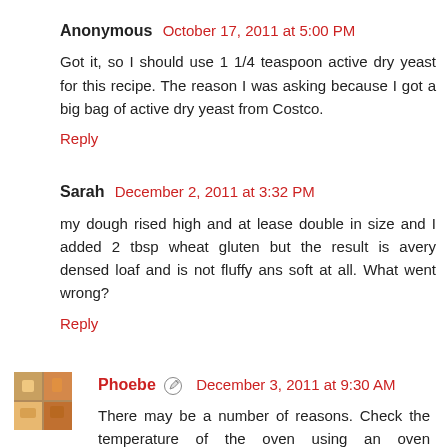Anonymous  October 17, 2011 at 5:00 PM
Got it, so I should use 1 1/4 teaspoon active dry yeast for this recipe. The reason I was asking because I got a big bag of active dry yeast from Costco.
Reply
Sarah  December 2, 2011 at 3:32 PM
my dough rised high and at lease double in size and I added 2 tbsp wheat gluten but the result is avery densed loaf and is not fluffy ans soft at all. What went wrong?
Reply
[Figure (photo): Small avatar photo of Phoebe showing colorful items]
Phoebe  December 3, 2011 at 9:30 AM
There may be a number of reasons. Check the temperature of the oven using an oven thermometer and preheat it at least for 20 minutes before putting the loaf in. Make sure it almost double in size for the second rise before baking. It